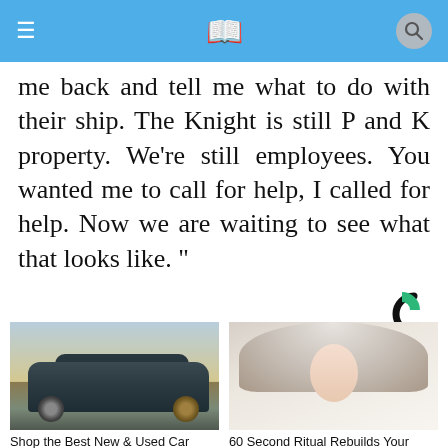≡ 📖 🔍
me back and tell me what to do with their ship. The Knight is still P and K property. We're still employees. You wanted me to call for help, I called for help. Now we are waiting to see what that looks like. "
[Figure (logo): Comscore C logo in black and green]
[Figure (photo): Photo of a dark luxury SUV on a highway]
Shop the Best New & Used Car Deals in Your Area?
Ad by Car Deals Near You
[Figure (photo): Photo of a smiling older woman with white hair]
60 Second Ritual Rebuilds Your Teeth and Gums (Watch)
Ad by Patriot Health Zone